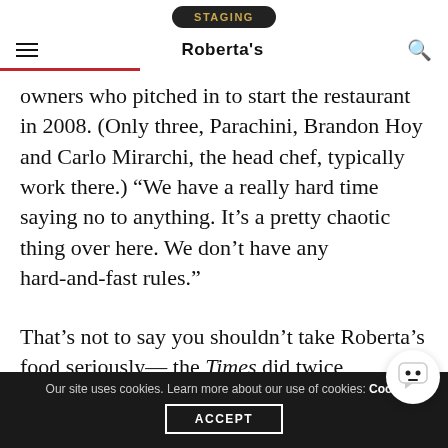STAGING
Roberta's
owners who pitched in to start the restaurant in 2008. (Only three, Parachini, Brandon Hoy and Carlo Mirarchi, the head chef, typically work there.) “We have a really hard time saying no to anything. It’s a pretty chaotic thing over here. We don’t have any hard-and-fast rules.”
That’s not to say you shouldn’t take Roberta’s food seriously— the Times did twice, bestowing a glowing
Our site uses cookies. Learn more about our use of cookies: Cookie Policy  ACCEPT